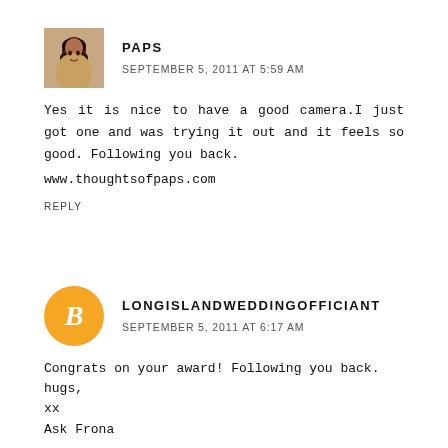[Figure (photo): Avatar photo of commenter Paps - woman with dark hair]
PAPS
SEPTEMBER 5, 2011 AT 5:59 AM
Yes it is nice to have a good camera.I just got one and was trying it out and it feels so good. Following you back.
www.thoughtsofpaps.com
REPLY
[Figure (logo): Blogger orange circle logo with white B letter]
LONGISLANDWEDDINGOFFICIANT
SEPTEMBER 5, 2011 AT 6:17 AM
Congrats on your award! Following you back.
hugs,
xx
Ask Frona